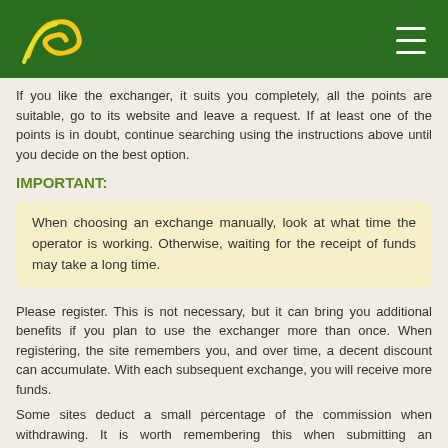If you like the exchanger, it suits you completely, all the points are suitable, go to its website and leave a request. If at least one of the points is in doubt, continue searching using the instructions above until you decide on the best option.
IMPORTANT:
When choosing an exchange manually, look at what time the operator is working. Otherwise, waiting for the receipt of funds may take a long time.
Please register. This is not necessary, but it can bring you additional benefits if you plan to use the exchanger more than once. When registering, the site remembers you, and over time, a decent discount can accumulate. With each subsequent exchange, you will receive more funds.
Some sites deduct a small percentage of the commission when withdrawing. It is worth remembering this when submitting an application in order to have a stock of funds on the wallet for the correct transfer of funds with a fee retention.
The description of the table gives you comprehensive information on how to use it, how to find profitable exchangers and withdraw funds with almost no losses.
ON A NOTE
1. Always try to split large sums on as many as possible small.
2. If you need to exchange a large sum then use the recommended exchangers.